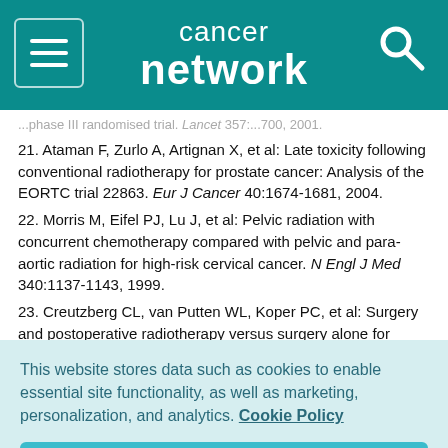cancer network
...phase III randomised trial. Lancet 357:...700, 2001.
21. Ataman F, Zurlo A, Artignan X, et al: Late toxicity following conventional radiotherapy for prostate cancer: Analysis of the EORTC trial 22863. Eur J Cancer 40:1674-1681, 2004.
22. Morris M, Eifel PJ, Lu J, et al: Pelvic radiation with concurrent chemotherapy compared with pelvic and para-aortic radiation for high-risk cervical cancer. N Engl J Med 340:1137-1143, 1999.
23. Creutzberg CL, van Putten WL, Koper PC, et al: Surgery and postoperative radiotherapy versus surgery alone for patients with stage-1 endometrial carcinoma: Multicentre randomised trial
This website stores data such as cookies to enable essential site functionality, as well as marketing, personalization, and analytics. Cookie Policy
Accept
Deny